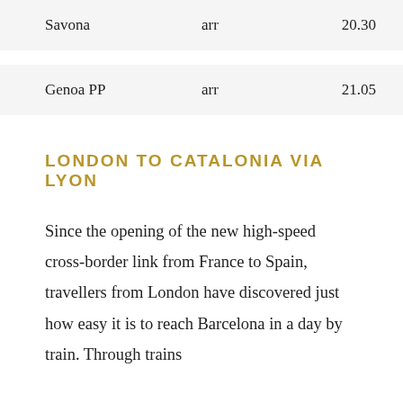| Savona | arr | 20.30 |
| Genoa PP | arr | 21.05 |
LONDON TO CATALONIA VIA LYON
Since the opening of the new high-speed cross-border link from France to Spain, travellers from London have discovered just how easy it is to reach Barcelona in a day by train. Through trains